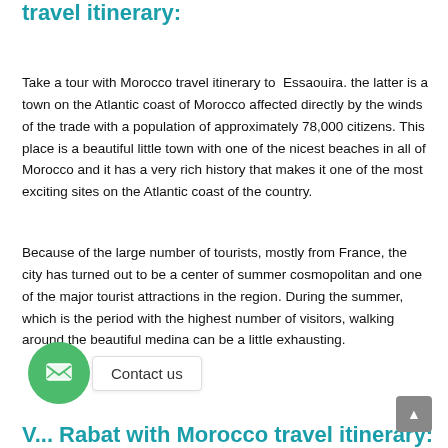travel itinerary:
Take a tour with Morocco travel itinerary to Essaouira. the latter is a town on the Atlantic coast of Morocco affected directly by the winds of the trade with a population of approximately 78,000 citizens. This place is a beautiful little town with one of the nicest beaches in all of Morocco and it has a very rich history that makes it one of the most exciting sites on the Atlantic coast of the country.
Because of the large number of tourists, mostly from France, the city has turned out to be a center of summer cosmopolitan and one of the major tourist attractions in the region. During the summer, which is the period with the highest number of visitors, walking around the beautiful medina can be a little exhausting.
V... Rabat with Morocco travel itinerary: